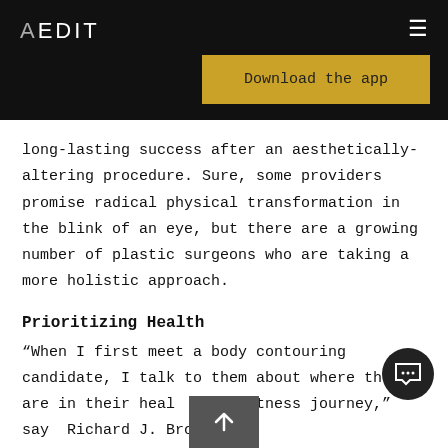AEDIT
long-lasting success after an aesthetically-altering procedure. Sure, some providers promise radical physical transformation in the blink of an eye, but there are a growing number of plastic surgeons who are taking a more holistic approach.
Prioritizing Health
“When I first meet a body contouring candidate, I talk to them about where they are in their health and fitness journey,” says Richard J. Brown, MD,